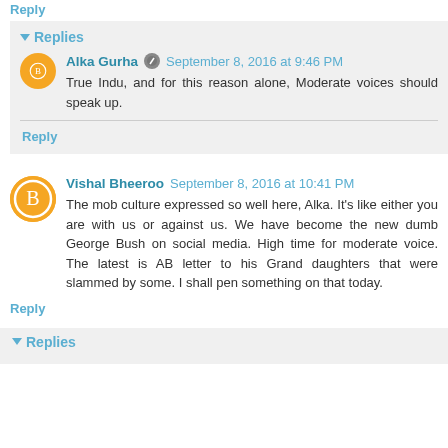Reply
Replies
Alka Gurha  September 8, 2016 at 9:46 PM
True Indu, and for this reason alone, Moderate voices should speak up.
Reply
Vishal Bheeroo  September 8, 2016 at 10:41 PM
The mob culture expressed so well here, Alka. It's like either you are with us or against us. We have become the new dumb George Bush on social media. High time for moderate voice. The latest is AB letter to his Grand daughters that were slammed by some. I shall pen something on that today.
Reply
Replies